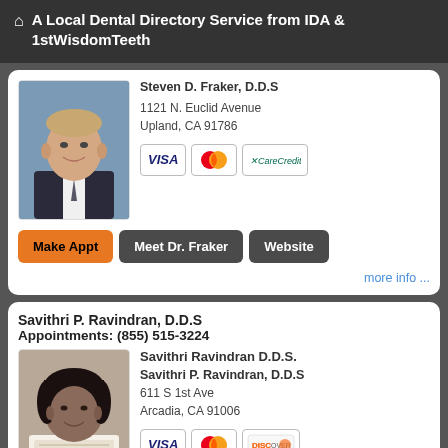A Local Dental Directory Service from IDA & 1stWisdomTeeth
Steven D. Fraker, D.D.S
1121 N. Euclid Avenue
Upland, CA 91786
[Figure (photo): Headshot of Dr. Steven Fraker in suit and tie]
[Figure (logo): Payment icons: VISA, MasterCard, CareCredit]
Make Appt | Meet Dr. Fraker | Website
more info ...
Savithri P. Ravindran, D.D.S
Appointments: (855) 515-3224
[Figure (photo): Headshot of Dr. Savithri Ravindran]
Savithri Ravindran D.D.S.
Savithri P. Ravindran, D.D.S
611 S 1st Ave
Arcadia, CA 91006
[Figure (logo): Payment icons: VISA, MasterCard, Discover]